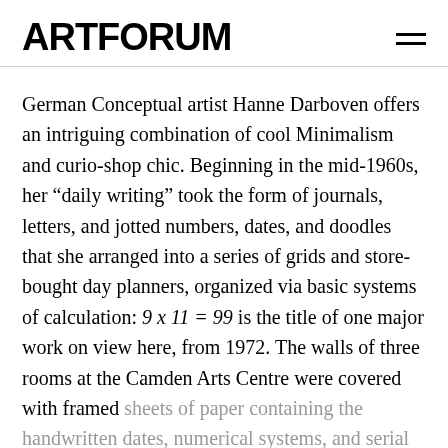ARTFORUM
German Conceptual artist Hanne Darboven offers an intriguing combination of cool Minimalism and curio-shop chic. Beginning in the mid-1960s, her “daily writing” took the form of journals, letters, and jotted numbers, dates, and doodles that she arranged into a series of grids and store-bought day planners, organized via basic systems of calculation: 9 x 11 = 99 is the title of one major work on view here, from 1972. The walls of three rooms at the Camden Arts Centre were covered with framed sheets of paper containing the handwritten dates, numerical systems, and serial inscriptions typical of
Read...